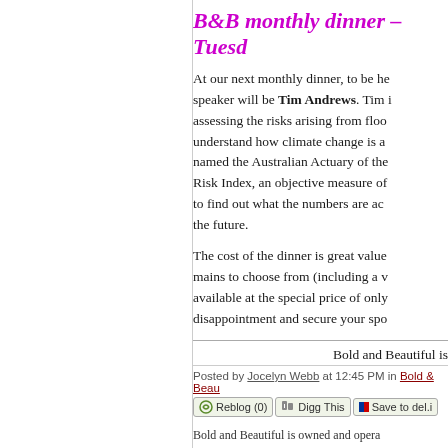B&B monthly dinner – Tuesd...
At our next monthly dinner, to be he... speaker will be Tim Andrews. Tim i... assessing the risks arising from floo... understand how climate change is a... named the Australian Actuary of the... Risk Index, an objective measure of... to find out what the numbers are ac... the future.
The cost of the dinner is great value... mains to choose from (including a v... available at the special price of only... disappointment and secure your spo...
Bold and Beautiful is...
Posted by Jocelyn Webb at 12:45 PM in Bold & Beau...
Bold and Beautiful is owned and opera...